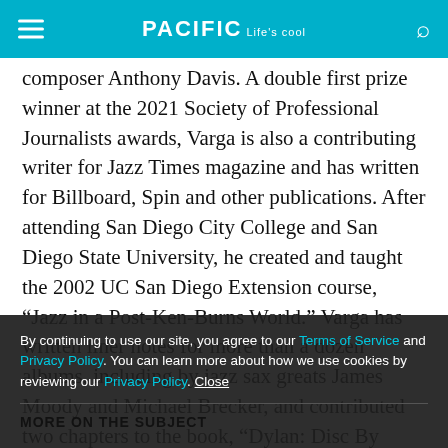PACIFIC Life's cool
composer Anthony Davis. A double first prize winner at the 2021 Society of Professional Journalists awards, Varga is also a contributing writer for Jazz Times magazine and has written for Billboard, Spin and other publications. After attending San Diego City College and San Diego State University, he created and taught the 2002 UC San Diego Extension course, “Jazz in a Post-Ken-Burns World.” Varga has written liner notes for more than a dozen albums, including by jazz sax greats James Moody and Michael Brecker, and contributed two chapters to the book, “Dylan: Disc By Disc.
By continuing to use our site, you agree to our Terms of Service and Privacy Policy. You can learn more about how we use cookies by reviewing our Privacy Policy. Close
MORE ON THE SUBJECT